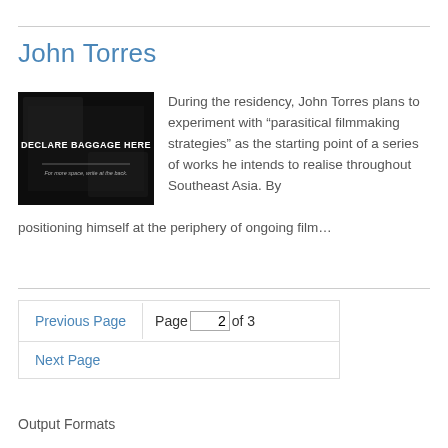John Torres
[Figure (photo): Dark/black image with white text 'DECLARE BAGGAGE HERE' and smaller text 'For more space, write at the back.']
During the residency, John Torres plans to experiment with “parasitical filmmaking strategies” as the starting point of a series of works he intends to realise throughout Southeast Asia. By positioning himself at the periphery of ongoing film…
Previous Page   Page 2 of 3
Next Page
Output Formats